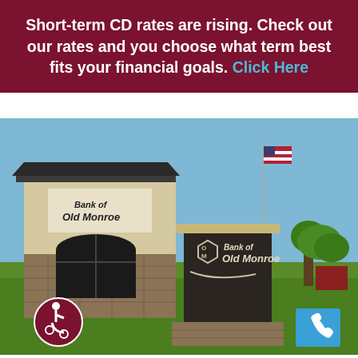Short-term CD rates are rising. Check out our rates and you choose what term best fits your financial goals. Click Here
[Figure (photo): Exterior photo of Bank of Old Monroe building and outdoor signage. The building features stone and stucco architecture with a Bank of Old Monroe logo on the facade. In the foreground is a large dark monument sign with the Bank of Old Monroe logo and text. An American flag is visible on a pole in the background. Green lawn and trees are visible. Accessibility icon and phone icon badges are overlaid at the bottom corners.]